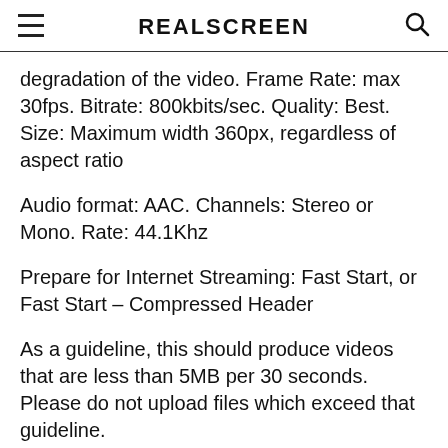REALSCREEN
degradation of the video. Frame Rate: max 30fps. Bitrate: 800kbits/sec. Quality: Best. Size: Maximum width 360px, regardless of aspect ratio
Audio format: AAC. Channels: Stereo or Mono. Rate: 44.1Khz
Prepare for Internet Streaming: Fast Start, or Fast Start – Compressed Header
As a guideline, this should produce videos that are less than 5MB per 30 seconds. Please do not upload files which exceed that guideline.